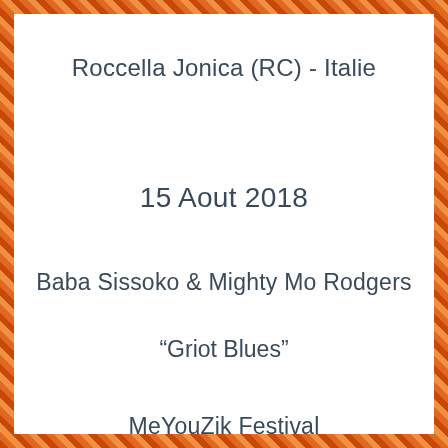Roccella Jonica (RC) - Italie
15 Aout 2018
Baba Sissoko & Mighty Mo Rodgers
“Griot Blues”
MeYouZik Festival